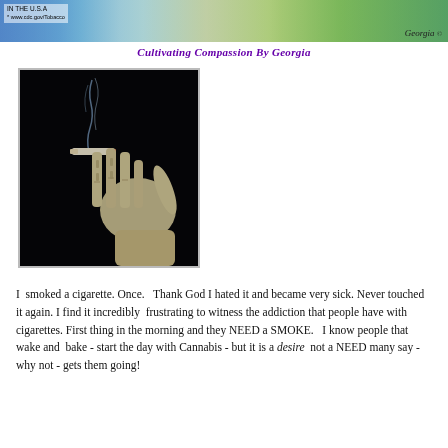[Figure (illustration): Colorful illustrated header banner showing anti-tobacco themed artwork with figures, plants, and a zero/no symbol. Text overlay reads 'IN THE U.S.A * www.cdc.gov/Tobacco'. Signature 'Georgia' in bottom right.]
Cultivating Compassion By Georgia
[Figure (photo): Photograph of a skeletal human hand holding a lit cigarette against a black background, with blue smoke rising.]
I  smoked a cigarette. Once.   Thank God I hated it and became very sick. Never touched it again. I find it incredibly  frustrating to witness the addiction that people have with cigarettes. First thing in the morning and they NEED a SMOKE.   I know people that wake and  bake - start the day with Cannabis - but it is a desire  not a NEED many say - why not - gets them going!